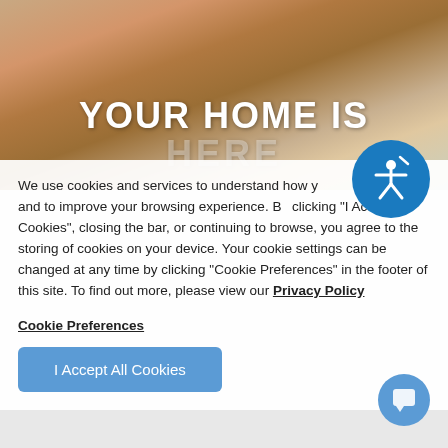[Figure (photo): Hero image showing people (family/group) with overlay text 'YOUR HOME IS HERE']
YOUR HOME IS
HERE
We use cookies and services to understand how you use our site and to improve your browsing experience. By clicking "I Accept All Cookies", closing the bar, or continuing to browse, you agree to the storing of cookies on your device. Your cookie settings can be changed at any time by clicking "Cookie Preferences" in the footer of this site. To find out more, please view our Privacy Policy
Cookie Preferences
I Accept All Cookies